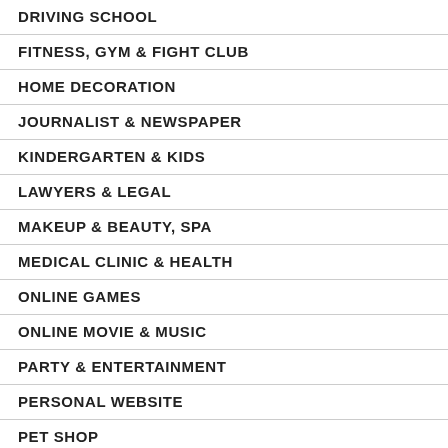DRIVING SCHOOL
FITNESS, GYM & FIGHT CLUB
HOME DECORATION
JOURNALIST & NEWSPAPER
KINDERGARTEN & KIDS
LAWYERS & LEGAL
MAKEUP & BEAUTY, SPA
MEDICAL CLINIC & HEALTH
ONLINE GAMES
ONLINE MOVIE & MUSIC
PARTY & ENTERTAINMENT
PERSONAL WEBSITE
PET SHOP